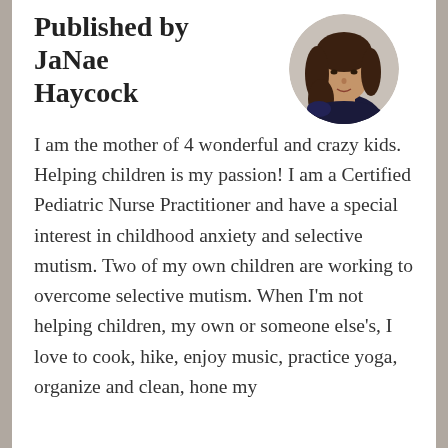Published by JaNae Haycock
[Figure (photo): Circular portrait photo of JaNae Haycock, a woman with long dark wavy hair, wearing a dark top, against a light background.]
I am the mother of 4 wonderful and crazy kids. Helping children is my passion! I am a Certified Pediatric Nurse Practitioner and have a special interest in childhood anxiety and selective mutism. Two of my own children are working to overcome selective mutism. When I'm not helping children, my own or someone else's, I love to cook, hike, enjoy music, practice yoga, organize and clean, hone my